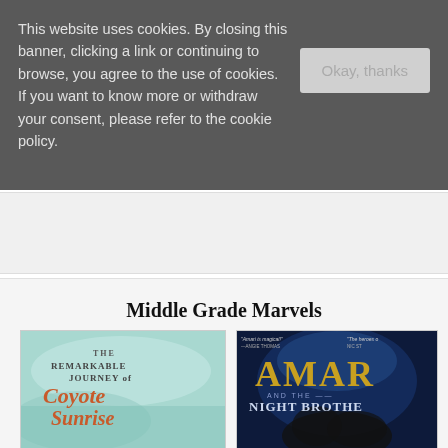This website uses cookies. By closing this banner, clicking a link or continuing to browse, you agree to the use of cookies. If you want to know more or withdraw your consent, please refer to the cookie policy.
Okay, thanks
Middle Grade Marvels
[Figure (photo): Book cover of 'The Remarkable Journey of Coyote Sunrise' with a teal/mint watercolor background and script lettering.]
[Figure (photo): Book cover of 'Amari and the Night Brothers' with a dark blue fantasy background showing a girl and golden title text. Blurbs from Angie Thomas and Nic Stone visible at top.]